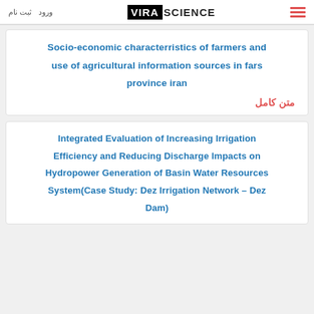ثبت نام  ورود  VIRA SCIENCE  ☰
Socio-economic characterristics of farmers and use of agricultural information sources in fars province iran
متن کامل
Integrated Evaluation of Increasing Irrigation Efficiency and Reducing Discharge Impacts on Hydropower Generation of Basin Water Resources System(Case Study: Dez Irrigation Network – Dez Dam)